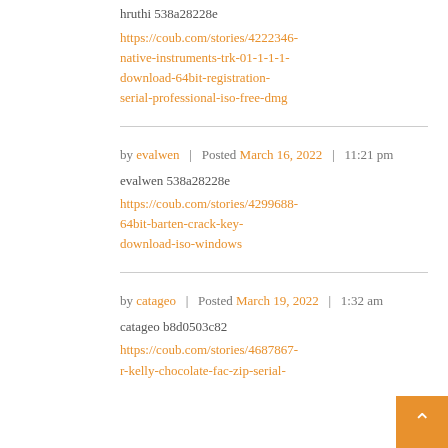hruthi 538a28228e
https://coub.com/stories/4222346-native-instruments-trk-01-1-1-1-download-64bit-registration-serial-professional-iso-free-dmg
by evalwen | Posted March 16, 2022 | 11:21 pm
evalwen 538a28228e
https://coub.com/stories/4299688-64bit-barten-crack-key-download-iso-windows
by catageo | Posted March 19, 2022 | 1:32 am
catageo b8d0503c82
https://coub.com/stories/4687867-r-kelly-chocolate-fac-zip-serial-